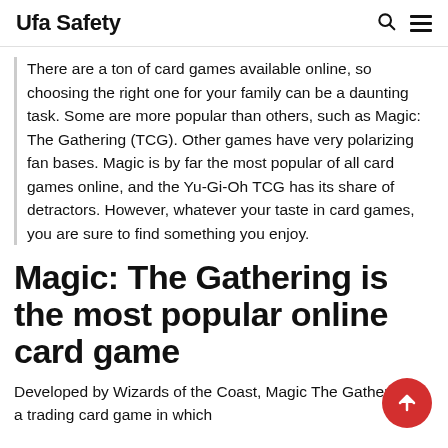Ufa Safety
There are a ton of card games available online, so choosing the right one for your family can be a daunting task. Some are more popular than others, such as Magic: The Gathering (TCG). Other games have very polarizing fan bases. Magic is by far the most popular of all card games online, and the Yu-Gi-Oh TCG has its share of detractors. However, whatever your taste in card games, you are sure to find something you enjoy.
Magic: The Gathering is the most popular online card game
Developed by Wizards of the Coast, Magic The Gathering is a trading card game in which...